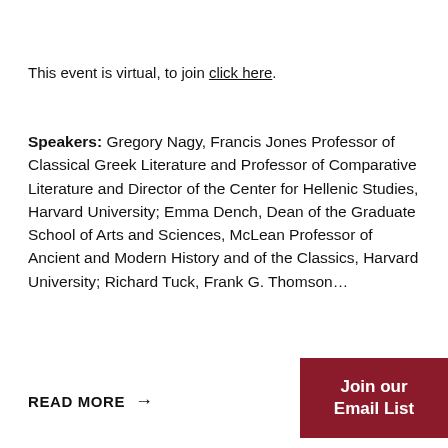This event is virtual, to join click here.
Speakers: Gregory Nagy, Francis Jones Professor of Classical Greek Literature and Professor of Comparative Literature and Director of the Center for Hellenic Studies, Harvard University; Emma Dench, Dean of the Graduate School of Arts and Sciences, McLean Professor of Ancient and Modern History and of the Classics, Harvard University; Richard Tuck, Frank G. Thomson...
READ MORE →
[Figure (other): Dark red button with white text reading 'Join our Email List']